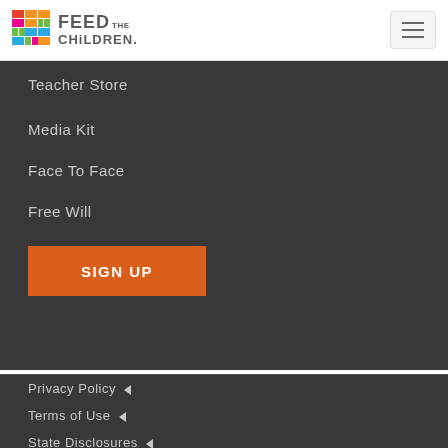[Figure (logo): Feed the Children logo with colorful grid icon and text]
Teacher Store
Media Kit
Face To Face
Free Will
SIGN UP
Privacy Policy ◄
Terms of Use ◄
State Disclosures ◄
Contact Us ◄